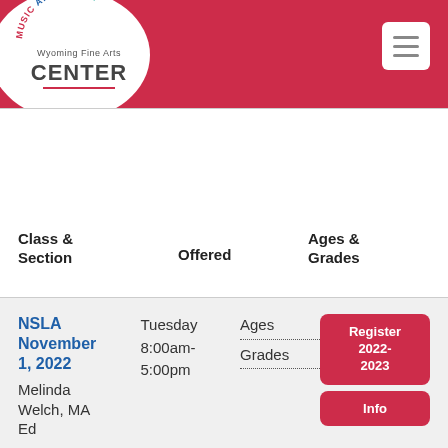[Figure (logo): Wyoming Fine Arts Center logo with circular arc text reading MUSIC ART DANCE]
| Class & Section | Offered | Ages & Grades |
| --- | --- | --- |
| NSLA November 1, 2022 Melinda Welch, MA Ed
Art Lab / No School? Let's Art! | Tuesday 8:00am-5:00pm | Ages
Grades |
| NSLA | Monday | Ages |